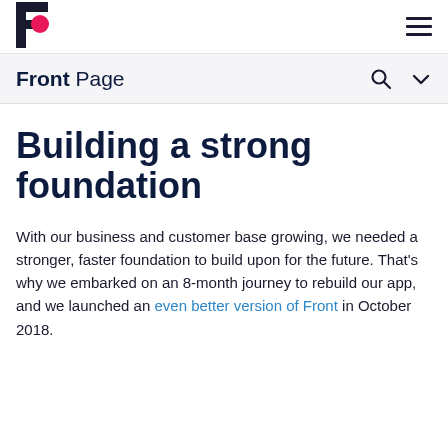[Figure (logo): Front app logo — stylized letter F in dark navy with a pink/red circular accent]
Front Page ☰
Front Page
Building a strong foundation
With our business and customer base growing, we needed a stronger, faster foundation to build upon for the future. That's why we embarked on an 8-month journey to rebuild our app, and we launched an even better version of Front in October 2018.